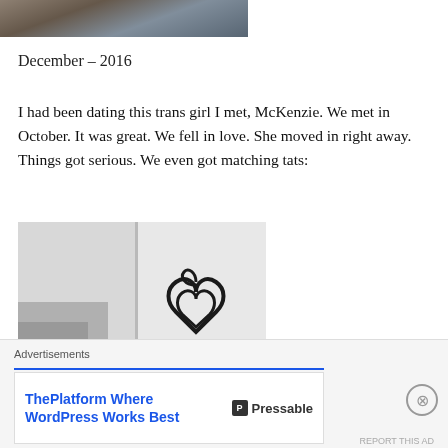[Figure (photo): Partial photo of a person, cropped, dark tones]
December – 2016
I had been dating this trans girl I met, McKenzie. We met in October. It was great. We fell in love. She moved in right away. Things got serious. We even got matching tats:
[Figure (photo): Black and white photo of two arms/wrists side by side showing matching heart tattoos]
Advertisements
ThePlatform Where WordPress Works Best
Pressable